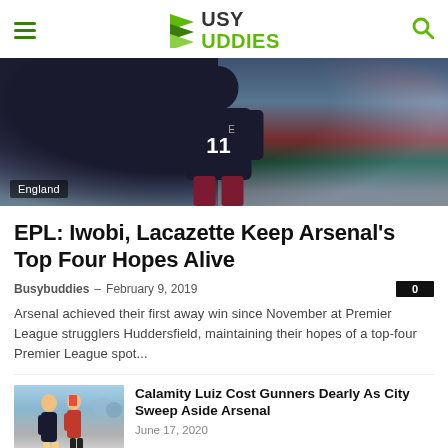Busy Buddies
[Figure (photo): Arsenal player with jersey number 11 seen from behind, crowd in background, with 'England' label overlay at bottom left]
EPL: Iwobi, Lacazette Keep Arsenal's Top Four Hopes Alive
Busybuddies – February 9, 2019
Arsenal achieved their first away win since November at Premier League strugglers Huddersfield, maintaining their hopes of a top-four Premier League spot...
[Figure (photo): Footballer receiving a red card from a referee, with Arsenal player in background]
Calamity Luiz Cost Gunners Dearly As City Sweep Aside Arsenal
June 17, 2020